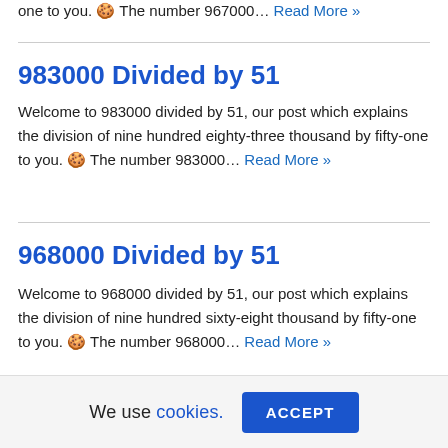one to you. 🍪 The number 967000… Read More »
983000 Divided by 51
Welcome to 983000 divided by 51, our post which explains the division of nine hundred eighty-three thousand by fifty-one to you. 🍪 The number 983000… Read More »
968000 Divided by 51
Welcome to 968000 divided by 51, our post which explains the division of nine hundred sixty-eight thousand by fifty-one to you. 🍪 The number 968000… Read More »
We use cookies. ACCEPT